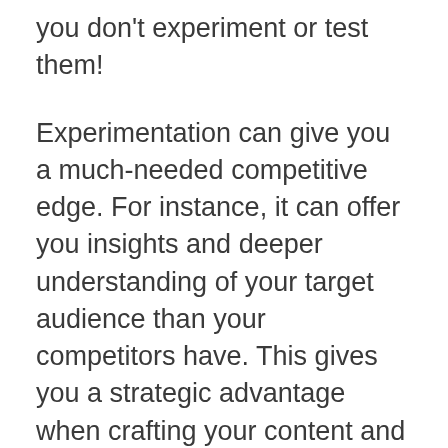you don't experiment or test them!
Experimentation can give you a much-needed competitive edge. For instance, it can offer you insights and deeper understanding of your target audience than your competitors have. This gives you a strategic advantage when crafting your content and campaigns.
Experimentation can also help you find novel ways to push your B2B customers down the sales cycle or conversion path. By testing what works best for your target audience, you'll have no trouble creating a